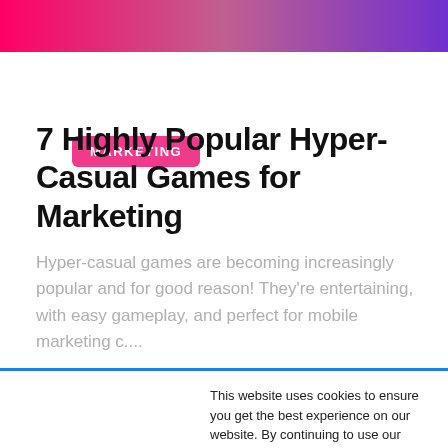[Figure (illustration): Hero banner with pink-to-purple gradient background]
MARKETING
7 Highly Popular Hyper-Casual Games for Marketing
Hyper-casual games are becoming increasingly popular and for good reason! They're entertaining, with easy gameplay, and perfect for mobile marketing c....
This website uses cookies to ensure you get the best experience on our website. By continuing to use our site, you agree to our use of cookies. To find out more see our Privacy Policy